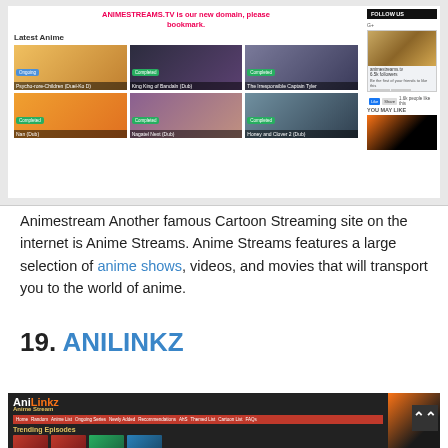[Figure (screenshot): Screenshot of AnimeStreams.tv website showing Latest Anime section with 6 anime thumbnails in a 3x2 grid, a sidebar with Follow Us section and Facebook like box, and You May Like section]
Animestream Another famous Cartoon Streaming site on the internet is Anime Streams. Anime Streams features a large selection of anime shows, videos, and movies that will transport you to the world of anime.
19. ANILINKZ
[Figure (screenshot): Screenshot of AniLinkz anime streaming website showing logo, navigation bar with red background, Trending Episodes section with thumbnail previews]